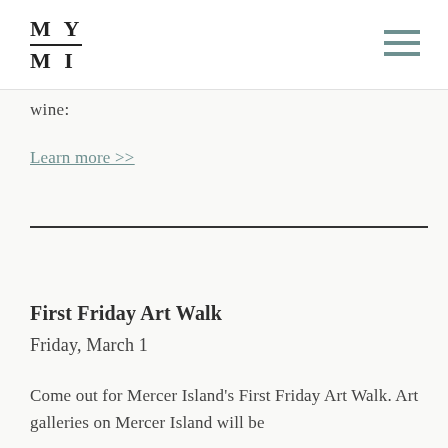MY MI
wine:
Learn more >>
First Friday Art Walk
Friday, March 1
Come out for Mercer Island's First Friday Art Walk. Art galleries on Mercer Island will be